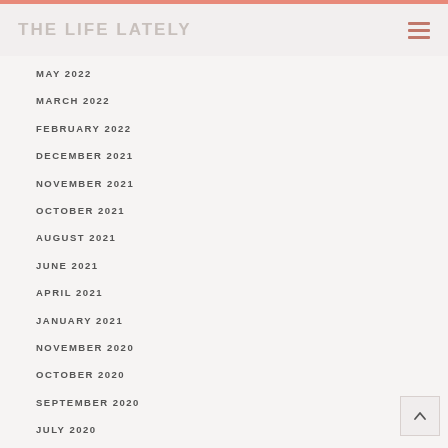THE LIFE LATELY
MAY 2022
MARCH 2022
FEBRUARY 2022
DECEMBER 2021
NOVEMBER 2021
OCTOBER 2021
AUGUST 2021
JUNE 2021
APRIL 2021
JANUARY 2021
NOVEMBER 2020
OCTOBER 2020
SEPTEMBER 2020
JULY 2020
APRIL 2020